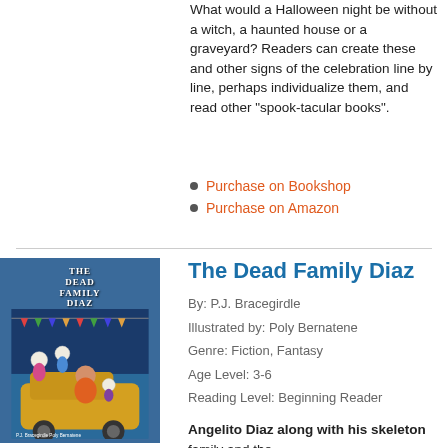What would a Halloween night be without a witch, a haunted house or a graveyard? Readers can create these and other signs of the celebration line by line, perhaps individualize them, and read other "spook-tacular books".
Purchase on Bookshop
Purchase on Amazon
[Figure (photo): Book cover of The Dead Family Diaz showing skeleton characters and a boy with a yellow car background]
The Dead Family Diaz
By: P.J. Bracegirdle
Illustrated by: Poly Bernatene
Genre: Fiction, Fantasy
Age Level: 3-6
Reading Level: Beginning Reader
Angelito Diaz along with his skeleton family and the